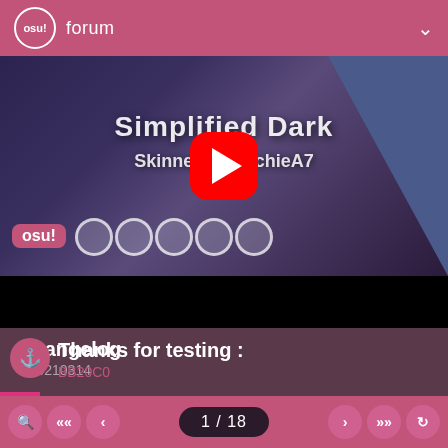osu! forum
[Figure (screenshot): YouTube video thumbnail showing 'Simplified Dark Skinned by ArchieA7' osu! skin with a red YouTube play button overlay, osu! logo badge, and game circle elements at the bottom]
Changelog
20210314
Thanks for testing :
BB20C0
1 / 18